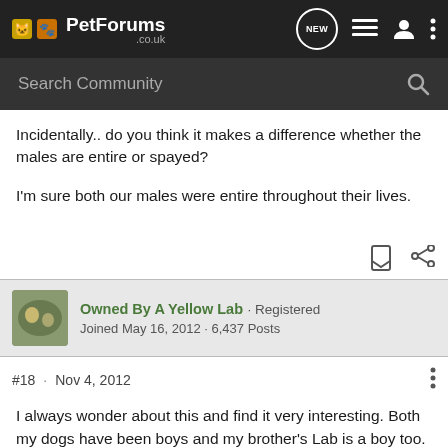PetForums.co.uk
Search Community
Incidentally.. do you think it makes a difference whether the males are entire or spayed?

I'm sure both our males were entire throughout their lives.
Owned By A Yellow Lab · Registered
Joined May 16, 2012 · 6,437 Posts
#18 · Nov 4, 2012
I always wonder about this and find it very interesting. Both my dogs have been boys and my brother's Lab is a boy too. Our